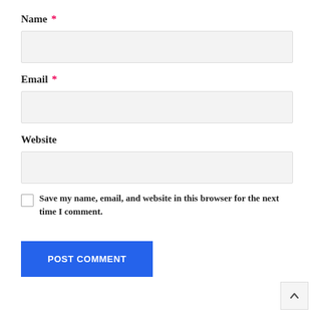Name *
[Figure (other): Name text input field, empty, light gray background]
Email *
[Figure (other): Email text input field, empty, light gray background]
Website
[Figure (other): Website text input field, empty, light gray background]
Save my name, email, and website in this browser for the next time I comment.
[Figure (other): POST COMMENT button in blue]
[Figure (other): Back to top arrow button, bottom right corner]